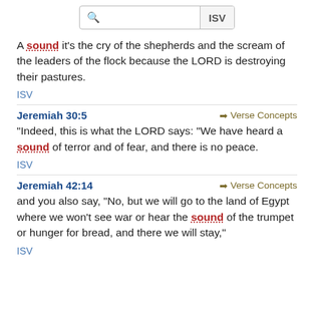[Figure (screenshot): Search bar with magnifying glass icon and ISV label on the right]
A sound it's the cry of the shepherds and the scream of the leaders of the flock because the LORD is destroying their pastures.
ISV
Jeremiah 30:5
Verse Concepts
"Indeed, this is what the LORD says: "We have heard a sound of terror and of fear, and there is no peace.
ISV
Jeremiah 42:14
Verse Concepts
and you also say, "No, but we will go to the land of Egypt where we won't see war or hear the sound of the trumpet or hunger for bread, and there we will stay,"
ISV